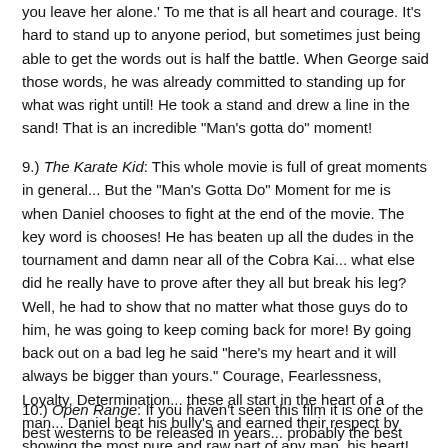you leave her alone.' To me that is all heart and courage. It's hard to stand up to anyone period, but sometimes just being able to get the words out is half the battle. When George said those words, he was already committed to standing up for what was right until! He took a stand and drew a line in the sand! That is an incredible "Man's gotta do" moment!
9.) The Karate Kid: This whole movie is full of great moments in general... But the "Man's Gotta Do" Moment for me is when Daniel chooses to fight at the end of the movie. The key word is chooses! He has beaten up all the dudes in the tournament and damn near all of the Cobra Kai... what else did he really have to prove after they all but break his leg? Well, he had to show that no matter what those guys do to him, he was going to keep coming back for more! By going back out on a bad leg he said "here's my heart and it will always be bigger than yours." Courage, Fearlessness, Loyalty, Determination... these all start in the heart of a man... Daniel beat his bully's and earned their respect by showing the most pure and raw part of any man, his heart!
10.) Open Range: If you haven't seen this film it is one of the best westerns to be released in years... probably the best since Unforgiven as